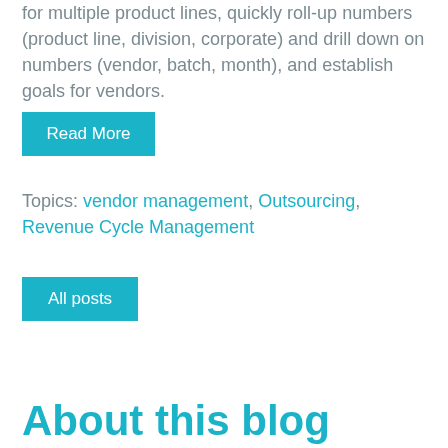for multiple product lines, quickly roll-up numbers (product line, division, corporate) and drill down on numbers (vendor, batch, month), and establish goals for vendors.
Read More
Topics: vendor management, Outsourcing, Revenue Cycle Management
All posts
About this blog